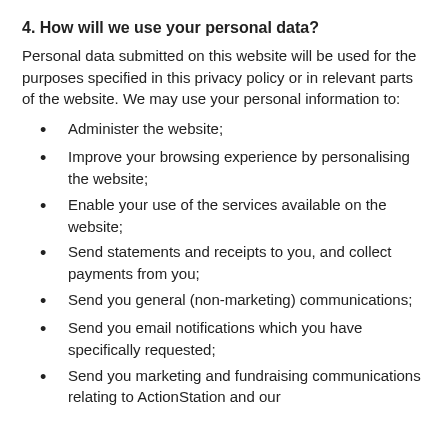4. How will we use your personal data?
Personal data submitted on this website will be used for the purposes specified in this privacy policy or in relevant parts of the website. We may use your personal information to:
Administer the website;
Improve your browsing experience by personalising the website;
Enable your use of the services available on the website;
Send statements and receipts to you, and collect payments from you;
Send you general (non-marketing) communications;
Send you email notifications which you have specifically requested;
Send you marketing and fundraising communications relating to ActionStation and our